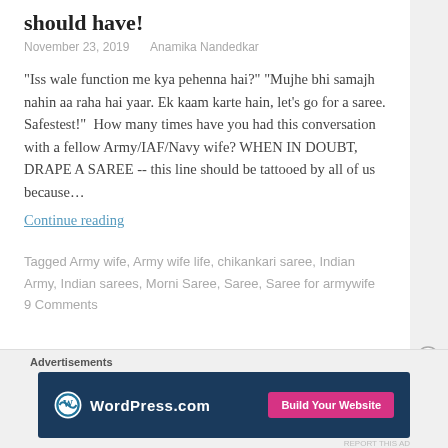should have!
November 23, 2019    Anamika Nandedkar
"Iss wale function me kya pehenna hai?" "Mujhe bhi samajh nahin aa raha hai yaar. Ek kaam karte hain, let's go for a saree. Safestest!"  How many times have you had this conversation with a fellow Army/IAF/Navy wife? WHEN IN DOUBT, DRAPE A SAREE -- this line should be tattooed by all of us because…
Continue reading
Tagged Army wife, Army wife life, chikankari saree, Indian Army, Indian sarees, Morni Saree, Saree, Saree for armywife
9 Comments
Advertisements
[Figure (other): WordPress.com advertisement banner with logo and 'Build Your Website' button]